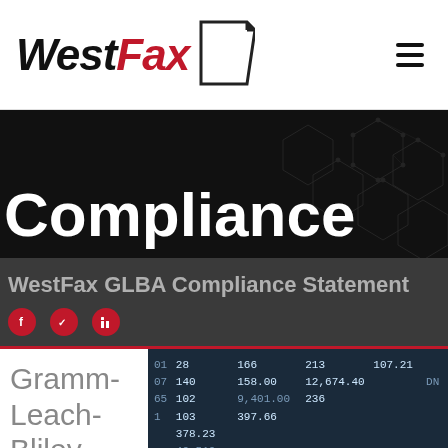WestFax
Compliance
WestFax GLBA Compliance Statement
[Figure (screenshot): Financial ticker/stock market data display showing numbers like 28, 140, 166, 213, 107.21, 75.21, 102, 158.00, 12,674.40, 103, 9,401.00, 378.23, 397.66, 236, 49,519, with labels DN]
Gramm-Leach-Bliley